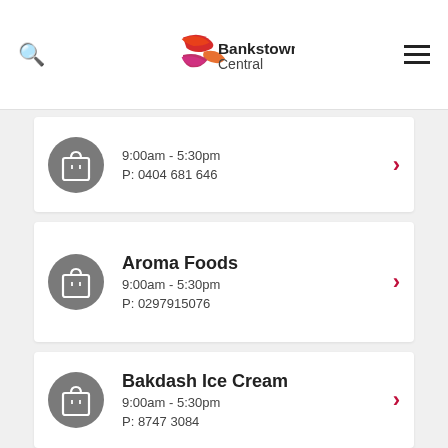Bankstown Central
9:00am - 5:30pm
P: 0404 681 646
Aroma Foods
9:00am - 5:30pm
P: 0297915076
Bakdash Ice Cream
9:00am - 5:30pm
P: 8747 3084